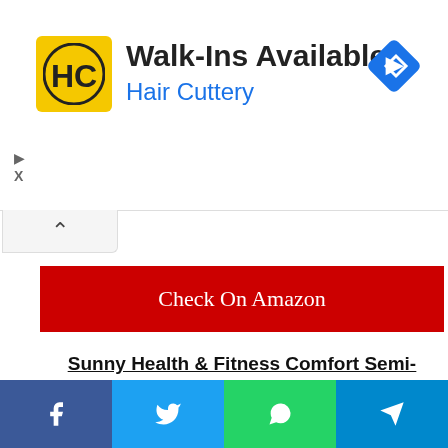[Figure (other): Hair Cuttery advertisement banner with logo, Walk-Ins Available text, and navigation icon]
[Figure (other): Red Check On Amazon button]
Sunny Health & Fitness Comfort Semi-Recumbent Bike Review
This bike is absolutely perfect for those seeking a combination of both recumbent and upright exercise bikes.
[Figure (other): Social sharing bar with Facebook, Twitter, WhatsApp, and Telegram buttons]